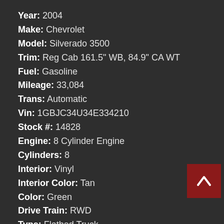Year: 2004
Make: Chevrolet
Model: Silverado 3500
Trim: Reg Cab 161.5" WB, 84.9" CA WT
Fuel: Gasoline
Mileage: 33,084
Trans: Automatic
Vin: 1GBJC34U34E334210
Stock #: 14828
Engine: 8 Cylinder Engine
Cylinders: 8
Interior: Vinyl
Interior Color: Tan
Color: Green
Drive Train: RWD
Type: Flatbed Truck